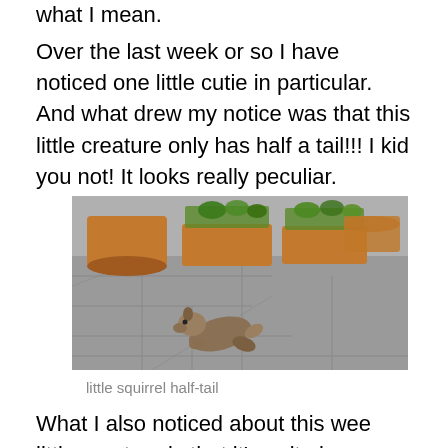what I mean.
Over the last week or so I have noticed one little cutie in particular. And what drew my notice was that this little creature only has half a tail!!! I kid you not! It looks really peculiar.
[Figure (photo): A squirrel with a half-tail running across a stone patio with terracotta plant pots and green plants in the background.]
little squirrel half-tail
What I also noticed about this wee little creature is that it's quite brave, albeit a bit bolshie.  It seldom runs far when I